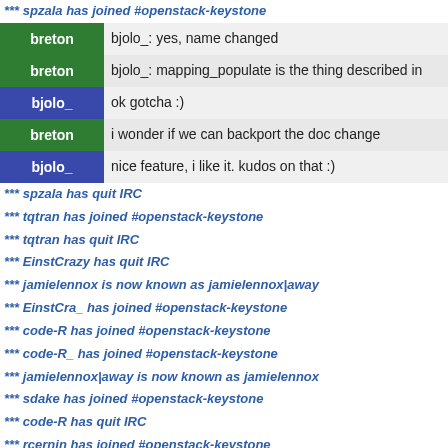*** spzala has joined #openstack-keystone
breton | bjolo_: yes, name changed
breton | bjolo_: mapping_populate is the thing described in
bjolo_ | ok gotcha :)
breton | i wonder if we can backport the doc change
bjolo_ | nice feature, i like it. kudos on that :)
*** spzala has quit IRC
*** tqtran has joined #openstack-keystone
*** tqtran has quit IRC
*** EinstCrazy has quit IRC
*** jamielennox is now known as jamielennox|away
*** EinstCra_ has joined #openstack-keystone
*** code-R has joined #openstack-keystone
*** code-R_ has joined #openstack-keystone
*** jamielennox|away is now known as jamielennox
*** sdake has joined #openstack-keystone
*** code-R has quit IRC
*** rcernin has joined #openstack-keystone
*** sdake_ has quit IRC
stevemar | breton: backport the doc change?
stevemar | breton: just update the spec
stevemar | bjolo_: right? it's a nice feature alright, you can th